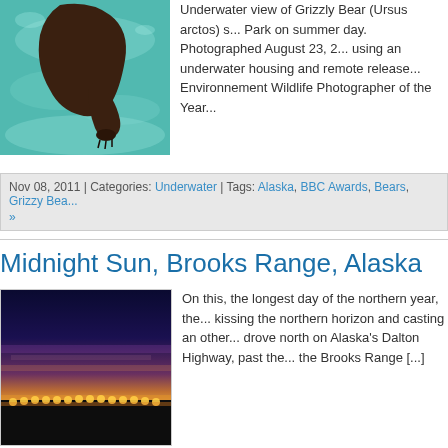[Figure (photo): Underwater view of a Grizzly Bear swimming, teal-blue water]
Underwater view of Grizzly Bear (Ursus arctos) s... Park on summer day. Photographed August 23, 2... using an underwater housing and remote release... Environnement Wildlife Photographer of the Year...
Nov 08, 2011 | Categories: Underwater | Tags: Alaska, BBC Awards, Bears, Grizzy Bea... »
Midnight Sun, Brooks Range, Alaska
[Figure (photo): Midnight sun time-lapse composite over Brooks Range, Alaska showing arc of sun along horizon]
On this, the longest day of the northern year, the... kissing the northern horizon and casting an other... drove north on Alaska's Dalton Highway, past the... the Brooks Range [...]